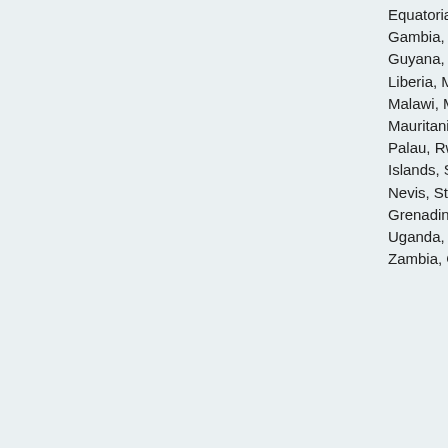Equatorial Guinea, Gambia, Grenada, Guyana, Lao PDR, Liberia, Madagascar, Malawi, Maldives, Mauritania, Nepal, Niue, Palau, Rwanda, Solomon Islands, St. Kitts And Nevis, St. Vincent and Grenadines, Togo, Tonga, Uganda, Vanuatu, Zambia, Global